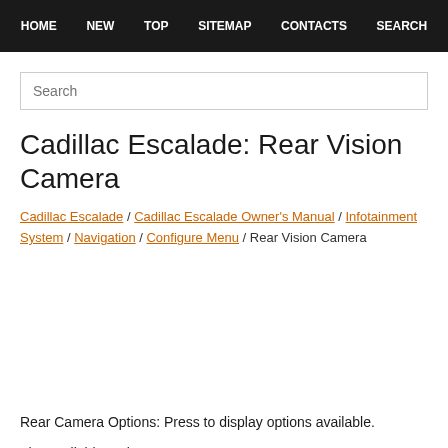HOME  NEW  TOP  SITEMAP  CONTACTS  SEARCH
[Figure (screenshot): Search input box with placeholder text 'Search']
Cadillac Escalade: Rear Vision Camera
Cadillac Escalade / Cadillac Escalade Owner's Manual / Infotainment System / Navigation / Configure Menu / Rear Vision Camera
Rear Camera Options: Press to display options available.
The available options are: